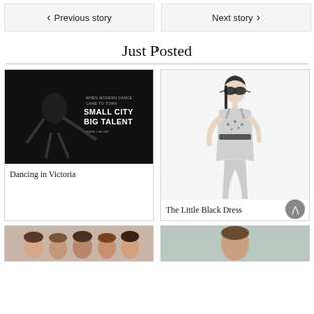◀ Previous story
Next story ▶
Just Posted
[Figure (photo): Black and white dance photo with text overlay: WHEN MODERN DANCE CAME TO TOWN, SMALL CITY BIG TALENT, ROBIN J. MILLER]
Dancing in Victoria
[Figure (illustration): Black and white fashion illustration of a woman in sunglasses wearing a structured dress]
The Little Black Dress
[Figure (photo): Partial photo of group of people, bottom row, partially visible]
[Figure (photo): Partial photo of a person, partially visible]